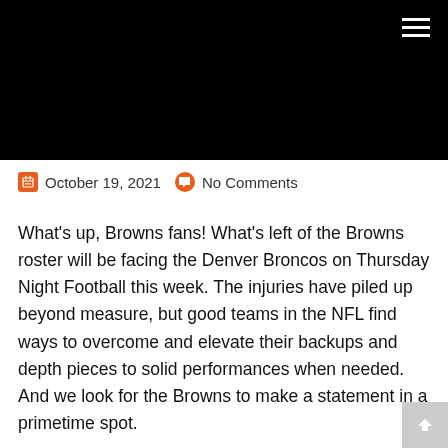[Figure (photo): Black header image banner at top of webpage]
October 19, 2021   No Comments
What's up, Browns fans! What's left of the Browns roster will be facing the Denver Broncos on Thursday Night Football this week. The injuries have piled up beyond measure, but good teams in the NFL find ways to overcome and elevate their backups and depth pieces to solid performances when needed. And we look for the Browns to make a statement in a primetime spot.
At the time of this recording, we still don't know if